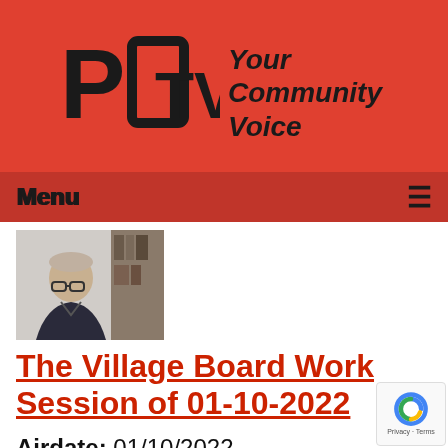[Figure (logo): PCTV logo with 'Your Community Voice' tagline on red background]
Menu
[Figure (photo): Thumbnail photo of a man in a dark jacket, video call screenshot]
The Village Board Work Session of 01-10-2022
Airdate: 01/10/2022
Guests: DeBruin